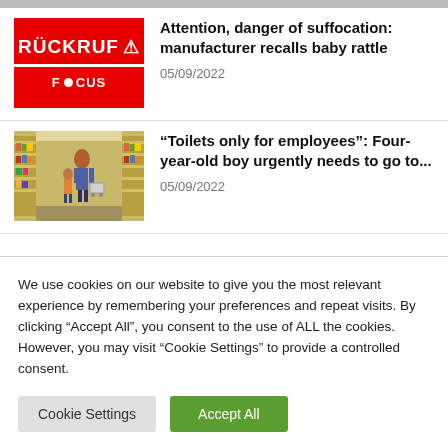[Figure (photo): Red recall (Rückruf) thumbnail with warning triangle icon and FOCUS logo]
Attention, danger of suffocation: manufacturer recalls baby rattle
05/09/2022
[Figure (photo): Photo of a woman and child in a supermarket aisle with shelves of products]
"Toilets only for employees": Four-year-old boy urgently needs to go to...
05/09/2022
We use cookies on our website to give you the most relevant experience by remembering your preferences and repeat visits. By clicking "Accept All", you consent to the use of ALL the cookies. However, you may visit "Cookie Settings" to provide a controlled consent.